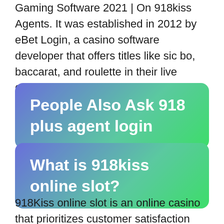Gaming Software 2021 | On 918kiss Agents. It was established in 2012 by eBet Login, a casino software developer that offers titles like sic bo, baccarat, and roulette in their live casino.
People Also Ask 918 plus agent login
What is 918kiss online slot?
918Kiss online slot is an online casino that prioritizes customer satisfaction through a thorough and timely customer support